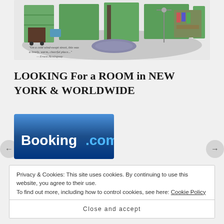[Figure (illustration): Watercolor illustration of a café or bookshop interior with green shelves, furniture, and a handwritten Hemingway quote: 'On a cold wind-swept street, this was a lovely, warm, cheerful place... — Ernest Hemingway']
LOOKING For a ROOM in NEW YORK & WORLDWIDE
[Figure (logo): Booking.com logo — blue gradient background with white and blue text reading 'Booking.com']
Privacy & Cookies: This site uses cookies. By continuing to use this website, you agree to their use. To find out more, including how to control cookies, see here: Cookie Policy
Close and accept
MANGIA ITALIAN ! Has Arrived !